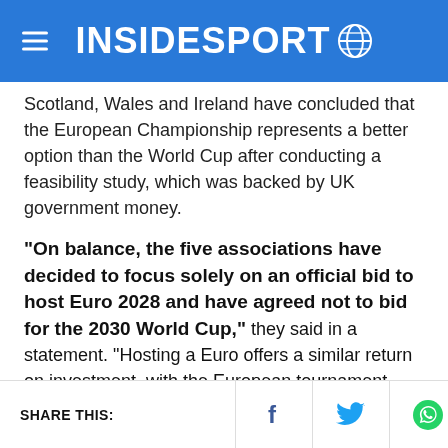INSIDESPORT
Scotland, Wales and Ireland have concluded that the European Championship represents a better option than the World Cup after conducting a feasibility study, which was backed by UK government money.
“On balance, the five associations have decided to focus solely on an official bid to host Euro 2028 and have agreed not to bid for the 2030 World Cup,” they said in a statement. “Hosting a Euro offers a similar return on investment, with the European tournament carrying a far lower delivery cost and the potential of the benefits being realised sooner.
SHARE THIS: